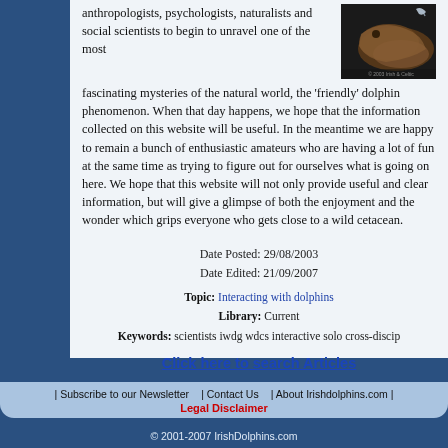[Figure (photo): Close-up photo of a dolphin, dark background with dolphin visible]
anthropologists, psychologists, naturalists and social scientists to begin to unravel one of the most fascinating mysteries of the natural world, the 'friendly' dolphin phenomenon. When that day happens, we hope that the information collected on this website will be useful. In the meantime we are happy to remain a bunch of enthusiastic amateurs who are having a lot of fun at the same time as trying to figure out for ourselves what is going on here. We hope that this website will not only provide useful and clear information, but will give a glimpse of both the enjoyment and the wonder which grips everyone who gets close to a wild cetacean.
Date Posted: 29/08/2003
Date Edited: 21/09/2007
Topic: Interacting with dolphins
Library: Current
Keywords: scientists iwdg wdcs interactive solo cross-discip
Click here to search Articles
© IrishDolphins.com
Powered by WebPilot
| Subscribe to our Newsletter | Contact Us | About Irishdolphins.com | Legal Disclaimer © 2001-2007 IrishDolphins.com